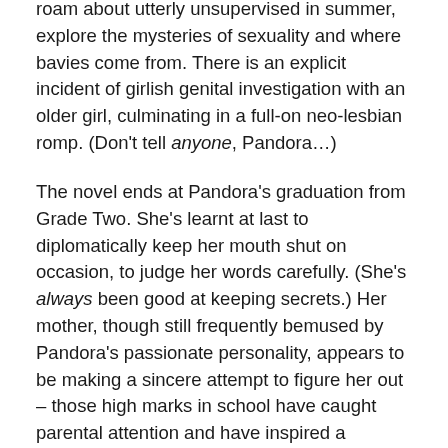roam about utterly unsupervised in summer, explore the mysteries of sexuality and where bavies come from. There is an explicit incident of girlish genital investigation with an older girl, culminating in a full-on neo-lesbian romp. (Don't tell anyone, Pandora…)
The novel ends at Pandora's graduation from Grade Two. She's learnt at last to diplomatically keep her mouth shut on occasion, to judge her words carefully. (She's always been good at keeping secrets.) Her mother, though still frequently bemused by Pandora's passionate personality, appears to be making a sincere attempt to figure her out – those high marks in school have caught parental attention and have inspired a grudging respect. A gleam of optimism for Pandora's future appears; her mother hints that there may be the possibility of a higher education one day, college and travel and a tantalizing something more…